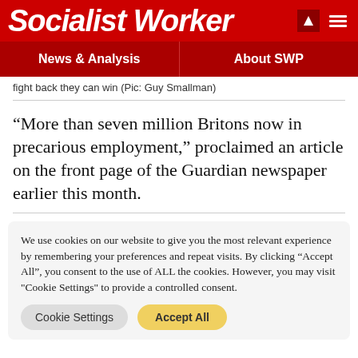Socialist Worker
News & Analysis | About SWP
fight back they can win (Pic: Guy Smallman)
“More than seven million Britons now in precarious employment,” proclaimed an article on the front page of the Guardian newspaper earlier this month.
We use cookies on our website to give you the most relevant experience by remembering your preferences and repeat visits. By clicking “Accept All”, you consent to the use of ALL the cookies. However, you may visit "Cookie Settings" to provide a controlled consent.